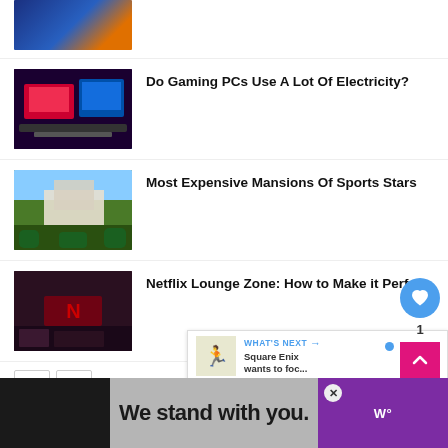[Figure (photo): Partial view of a colorful gaming/entertainment venue thumbnail at top]
[Figure (photo): Gaming PC setup with monitors showing colorful graphics]
Do Gaming PCs Use A Lot Of Electricity?
[Figure (photo): Aerial view of expensive mansion with surrounding greenery and water]
Most Expensive Mansions Of Sports Stars
[Figure (photo): Dark Netflix lounge interior with red Netflix logo]
Netflix Lounge Zone: How to Make it Perfe
COMPETITIONS
[Figure (screenshot): WHAT'S NEXT banner: Square Enix wants to foc...]
[Figure (screenshot): Ad banner: We stand with you. with close button and logo]